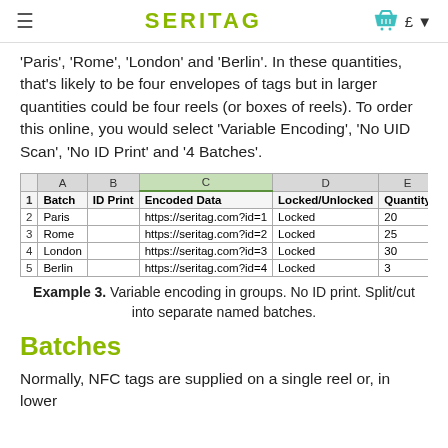SERITAG
'Paris', 'Rome', 'London' and 'Berlin'. In these quantities, that's likely to be four envelopes of tags but in larger quantities could be four reels (or boxes of reels). To order this online, you would select 'Variable Encoding', 'No UID Scan', 'No ID Print' and '4 Batches'.
|  | A | B | C | D | E |
| --- | --- | --- | --- | --- | --- |
| 1 | Batch | ID Print | Encoded Data | Locked/Unlocked | Quantity |
| 2 | Paris |  | https://seritag.com?id=1 | Locked | 20 |
| 3 | Rome |  | https://seritag.com?id=2 | Locked | 25 |
| 4 | London |  | https://seritag.com?id=3 | Locked | 30 |
| 5 | Berlin |  | https://seritag.com?id=4 | Locked | 3 |
Example 3. Variable encoding in groups. No ID print. Split/cut into separate named batches.
Batches
Normally, NFC tags are supplied on a single reel or, in lower